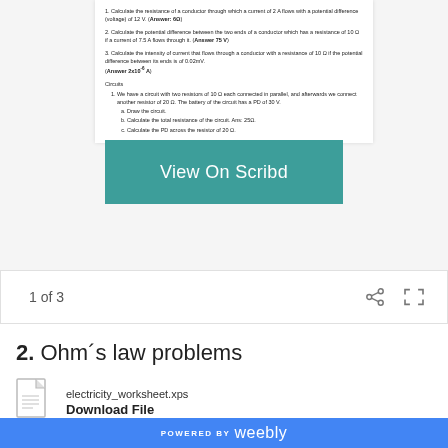[Figure (screenshot): Scribd document preview showing physics worksheet with Ohm's law problems. Contains numbered questions about calculating resistance, potential difference, and current. A teal 'View On Scribd' button overlays the lower portion of the preview.]
1 of 3
2. Ohm´s law problems
electricity_worksheet.xps
Download File
POWERED BY weebly